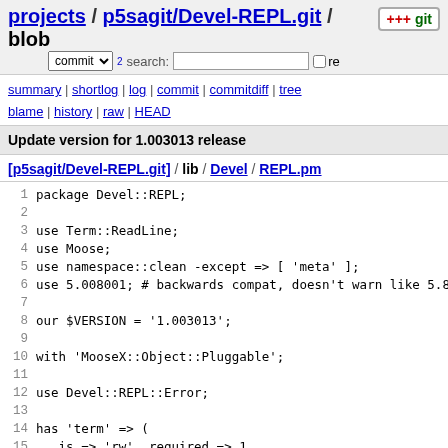projects / p5sagit/Devel-REPL.git / blob
commit search: re
summary | shortlog | log | commit | commitdiff | tree blame | history | raw | HEAD
Update version for 1.003013 release
[p5sagit/Devel-REPL.git] / lib / Devel / REPL.pm
1 package Devel::REPL;
2
3 use Term::ReadLine;
4 use Moose;
5 use namespace::clean -except => [ 'meta' ];
6 use 5.008001; # backwards compat, doesn't warn like 5.8
7
8 our $VERSION = '1.003013';
9
10 with 'MooseX::Object::Pluggable';
11
12 use Devel::REPL::Error;
13
14 has 'term' => (
15    is => 'rw', required => 1,
16    default => sub { Term::ReadLine->new('Perl REPL') }
17 );
18
19 has 'prompt' => (